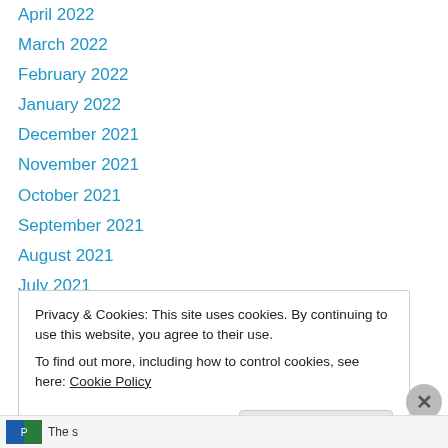April 2022
March 2022
February 2022
January 2022
December 2021
November 2021
October 2021
September 2021
August 2021
July 2021
June 2021
May 2021
April 2021
Privacy & Cookies: This site uses cookies. By continuing to use this website, you agree to their use.
To find out more, including how to control cookies, see here: Cookie Policy
Close and accept